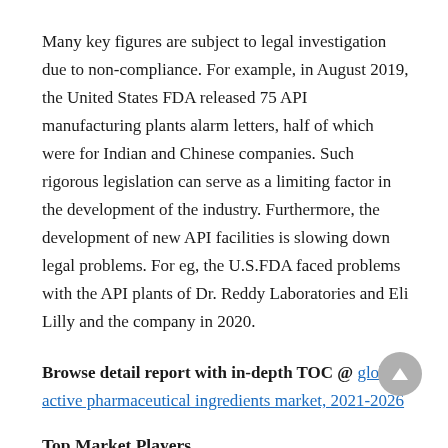Many key figures are subject to legal investigation due to non-compliance. For example, in August 2019, the United States FDA released 75 API manufacturing plants alarm letters, half of which were for Indian and Chinese companies. Such rigorous legislation can serve as a limiting factor in the development of the industry. Furthermore, the development of new API facilities is slowing down legal problems. For eg, the U.S.FDA faced problems with the API plants of Dr. Reddy Laboratories and Eli Lilly and the company in 2020.
Browse detail report with in-depth TOC @ global active pharmaceutical ingredients market, 2021-2026
Top Market Players
Some prominent players in the global active